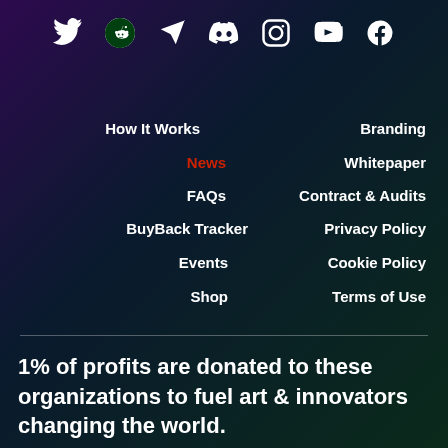[Figure (infographic): Row of social media icons: Twitter, Reddit, Telegram, Discord, Instagram, YouTube, Facebook]
How It Works
News
FAQs
BuyBack Tracker
Events
Shop
Branding
Whitepaper
Contract & Audits
Privacy Policy
Cookie Policy
Terms of Use
1% of profits are donated to these organizations to fuel art & innovators changing the world.